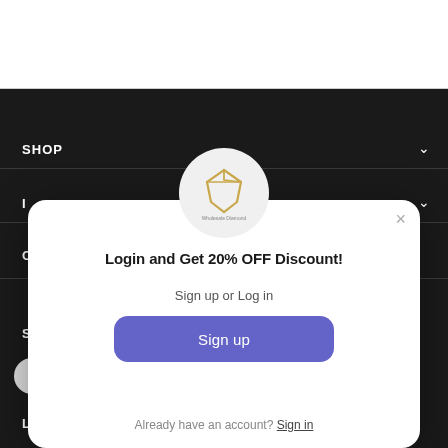[Figure (screenshot): Dark-themed mobile navigation menu background with top white bar, SHOP nav item with chevron, and partial nav items (I, C, S, L) visible.]
[Figure (other): Modal popup with circular logo (Wholesale Diamond), close button (×), title 'Login and Get 20% OFF Discount!', subtitle 'Sign up or Log in', a purple 'Sign up' button, and footer text 'Already have an account? Sign in'.]
SHOP
Login and Get 20% OFF Discount!
Sign up or Log in
Sign up
Already have an account? Sign in